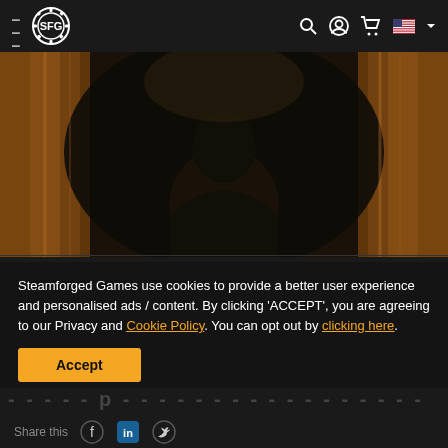SFG (Steamforged Games) navigation bar with hamburger menu, logo, search, account, cart, and US flag icons
[Figure (photo): Dark cinematic hero image showing a dimly lit scene with a silhouetted figure from behind, warm amber/orange tones on the sides suggesting curtains or fabric]
Steamforged Games use cookies to provide a better user experience and personalised ads / content. By clicking 'ACCEPT', you are agreeing to our Privacy and Cookie Policy. You can opt out by clicking here.
Accept
- - - - - - - p - - - - - - - - - - - - - - - - - - -
Share this